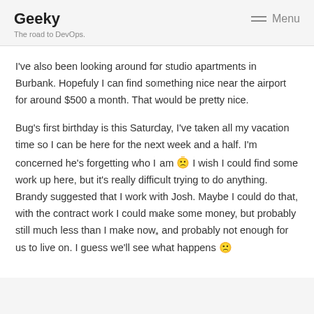Geeky
The road to DevOps.
Menu
I've also been looking around for studio apartments in Burbank. Hopefuly I can find something nice near the airport for around $500 a month. That would be pretty nice.
Bug's first birthday is this Saturday, I've taken all my vacation time so I can be here for the next week and a half. I'm concerned he's forgetting who I am 🙁 I wish I could find some work up here, but it's really difficult trying to do anything. Brandy suggested that I work with Josh. Maybe I could do that, with the contract work I could make some money, but probably still much less than I make now, and probably not enough for us to live on. I guess we'll see what happens 🙁